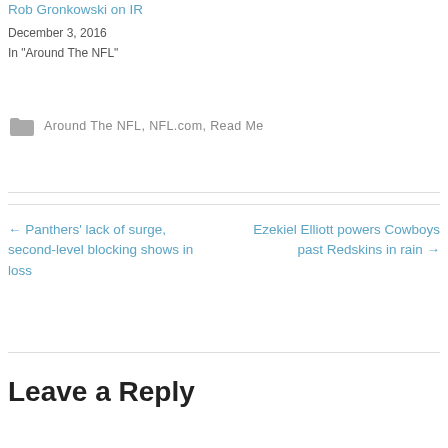Rob Gronkowski on IR
December 3, 2016
In "Around The NFL"
Around The NFL, NFL.com, Read Me
← Panthers' lack of surge, second-level blocking shows in loss
Ezekiel Elliott powers Cowboys past Redskins in rain →
Leave a Reply